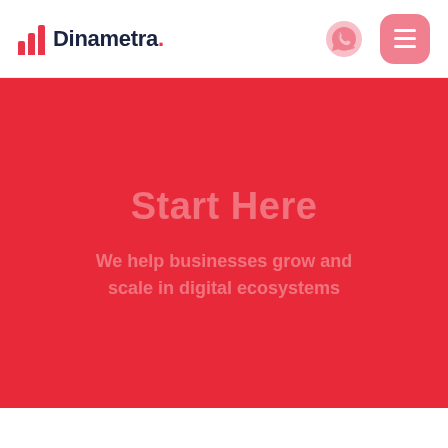Dinametra
[Figure (illustration): Dinametra website screenshot showing a red hero section with 'Start Here' heading and subtitle text overlaid in lighter pink/transparent text on the red background. The header contains the Dinametra logo (red bar chart icon with dark navy text) and navigation icons including a WhatsApp phone icon and a pink hamburger menu button.]